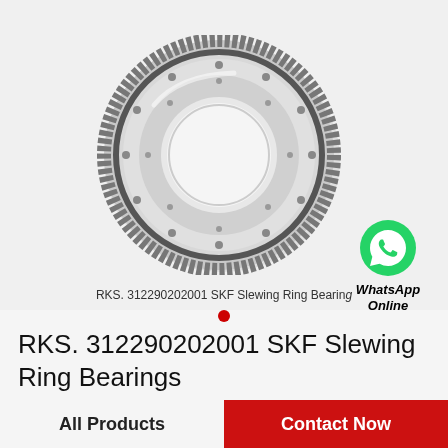[Figure (photo): SKF slewing ring bearing RKS.312290202001 — a large circular steel ring gear with internal and external gear teeth, multiple bolt holes, photographed on white background]
RKS. 312290202001 SKF Slewing Ring Bearing
[Figure (logo): WhatsApp green phone icon with text 'WhatsApp Online' below in bold italic]
RKS. 312290202001 SKF Slewing Ring Bearings
All Products   Contact Now